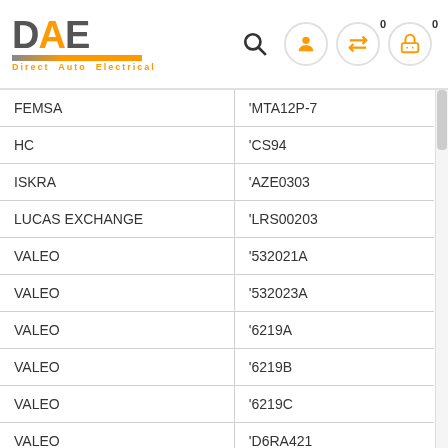DAE Direct Auto Electrical
| Brand | Part Number |
| --- | --- |
| FEMSA | 'MTA12P-7 |
| HC | 'CS94 |
| ISKRA | 'AZE0303 |
| LUCAS EXCHANGE | 'LRS00203 |
| VALEO | '532021A |
| VALEO | '532023A |
| VALEO | '6219A |
| VALEO | '6219B |
| VALEO | '6219C |
| VALEO | 'D6RA421 |